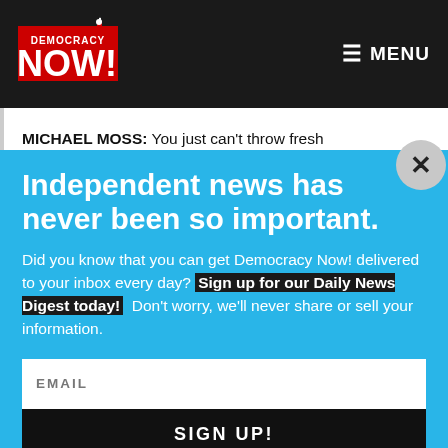[Figure (logo): Democracy Now! logo — red and white text with Statue of Liberty graphic on dark background]
≡ MENU
MICHAEL MOSS: You just can't throw fresh
Independent news has never been so important.
Did you know that you can get Democracy Now! delivered to your inbox every day? Sign up for our Daily News Digest today! Don't worry, we'll never share or sell your information.
EMAIL
SIGN UP!